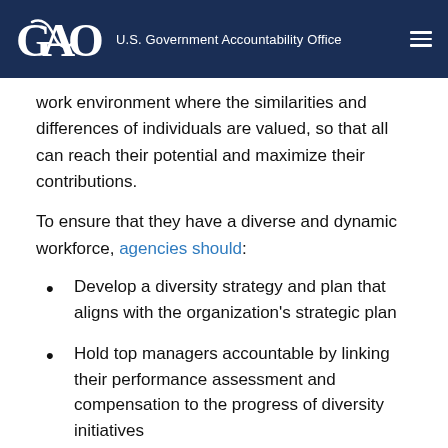GAO | U.S. Government Accountability Office
work environment where the similarities and differences of individuals are valued, so that all can reach their potential and maximize their contributions.
To ensure that they have a diverse and dynamic workforce, agencies should:
Develop a diversity strategy and plan that aligns with the organization's strategic plan
Hold top managers accountable by linking their performance assessment and compensation to the progress of diversity initiatives
Have a recruitment process for attracting a